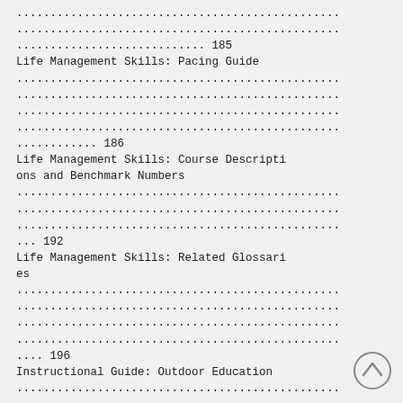................................................
................................................
............................ 185
Life Management Skills: Pacing Guide
................................................
................................................
................................................
................................................
............ 186
Life Management Skills: Course Descriptions and Benchmark Numbers
................................................
................................................
................................................
... 192
Life Management Skills: Related Glossaries
................................................
................................................
................................................
................................................
.... 196
Instructional Guide: Outdoor Education
................................................